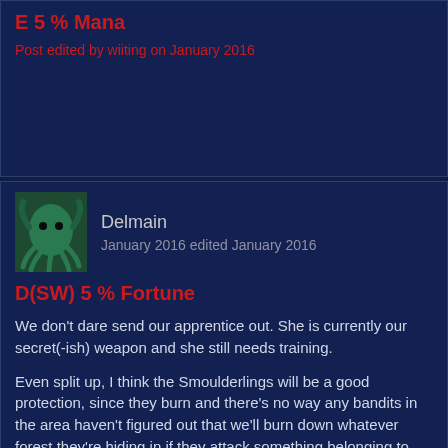E 5 % Mana
Post edited by wiiting on January 2016
Delmain
January 2016 edited January 2016
D(SW) 5 % Fortune
We don't dare send our apprentice out. She is currently our secret(-ish) weapon and she still needs training.
Even split up, I think the Smoulderlings will be a good protection, since they burn and there's no way any bandits in the area haven't figured out that we'll burn down whatever forest they're hiding in if they attack something belonging to us.
Post edited by Delmain on January 2016
Celebrim